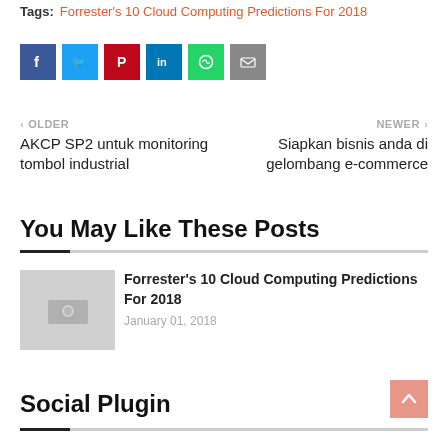Tags: Forrester's 10 Cloud Computing Predictions For 2018
[Figure (other): Social share icons: Facebook, Twitter, Pinterest, LinkedIn, WhatsApp, Email]
‹ OLDER
AKCP SP2 untuk monitoring tombol industrial
NEWER ›
Siapkan bisnis anda di gelombang e-commerce
You May Like These Posts
[Figure (photo): Placeholder thumbnail image with camera icon]
Forrester's 10 Cloud Computing Predictions For 2018
January 01, 2018
Social Plugin